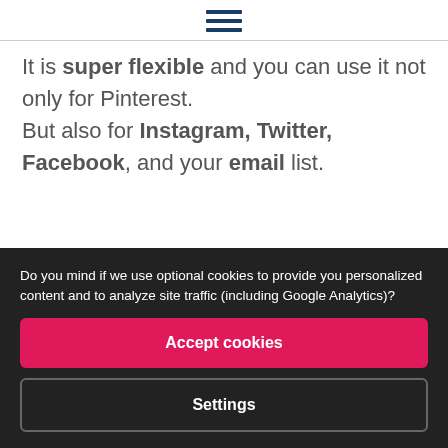☰
It is super flexible and you can use it not only for Pinterest.
But also for Instagram, Twitter, Facebook, and your email list.
Do you mind if we use optional cookies to provide you personalized content and to analyze site traffic (including Google Analytics)?
Accept cookies
Settings